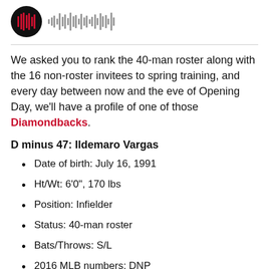[Figure (other): Podcast logo circle with red bars and audio waveform graphic]
We asked you to rank the 40-man roster along with the 16 non-roster invitees to spring training, and every day between now and the eve of Opening Day, we'll have a profile of one of those Diamondbacks.
D minus 47: Ildemaro Vargas
Date of birth: July 16, 1991
Ht/Wt: 6'0", 170 lbs
Position: Infielder
Status: 40-man roster
Bats/Throws: S/L
2016 MLB numbers: DNP